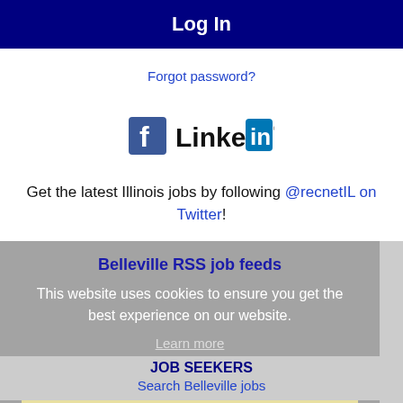Log In
Forgot password?
[Figure (logo): Facebook logo and LinkedIn logo side by side]
Get the latest Illinois jobs by following @recnetIL on Twitter!
Belleville RSS job feeds
This website uses cookies to ensure you get the best experience on our website.
Learn more
Got it!
JOB SEEKERS
Search Belleville jobs